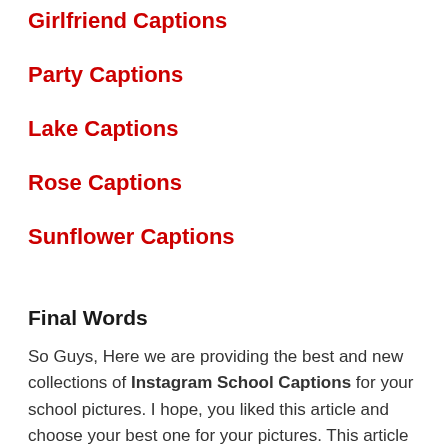Girlfriend Captions
Party Captions
Lake Captions
Rose Captions
Sunflower Captions
Final Words
So Guys, Here we are providing the best and new collections of Instagram School Captions for your school pictures. I hope, you liked this article and choose your best one for your pictures. This article